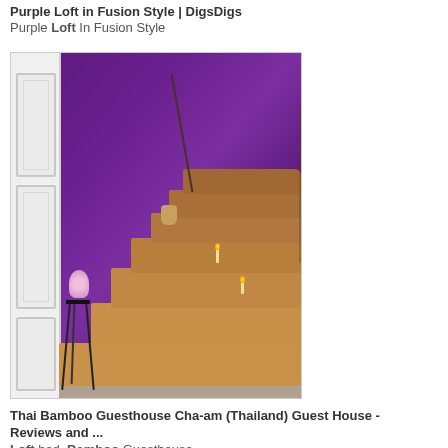Purple Loft in Fusion Style | DigsDigs
Purple Loft In Fusion Style
[Figure (photo): Interior photo of a purple-walled room with wooden stairs ascending to the right, a white door on the left, a decorative plant stand with figurine, and candles on the stair steps.]
Thai Bamboo Guesthouse Cha-am (Thailand) Guest House - Reviews and ...
Loft bed, Bamboo Guesthouse